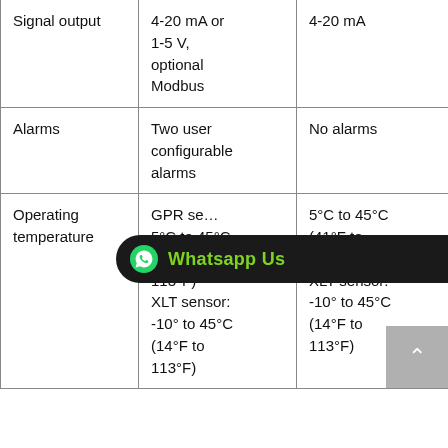|  | Model A / Standard | Model B / Basic |
| --- | --- | --- |
| Signal output | 4-20 mA or 1-5 V, optional Modbus | 4-20 mA |
| Alarms | Two user configurable alarms | No alarms |
| Operating temperature | GPR sensor: 5°C to 45°C (41°F to 113°F)
XLT sensor: -10° to 45°C (14°F to 113°F) | 5°C to 45°C (41°F to 113°F)
XLT sensor: -10° to 45°C (14°F to 113°F) |